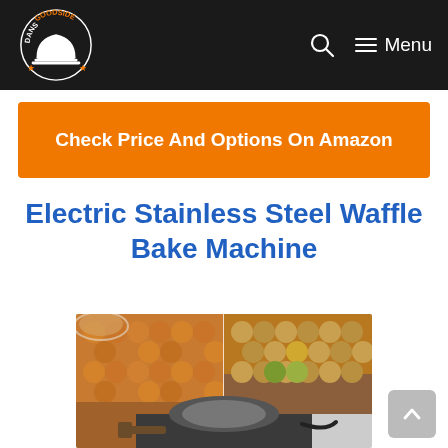DANS GOODSIDE — Menu
Check Price And Options On Amazon
Electric Stainless Steel Waffle Bake Machine
[Figure (photo): Two-panel product photo: left panel shows golden bubble/egg waffles on a woven mat with a pancake in background; right panel shows similar bubble waffles on a wooden board with one cut open, plus the waffle maker machine visible at the bottom.]